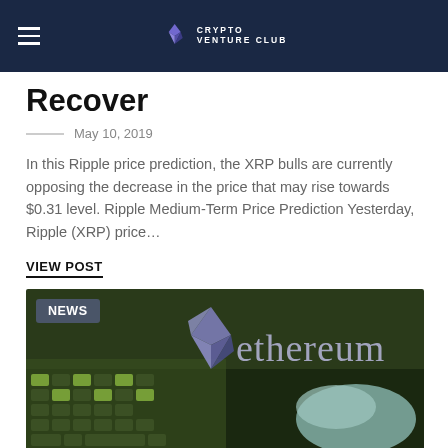Crypto Venture Club
Recover
May 10, 2019
In this Ripple price prediction, the XRP bulls are currently opposing the decrease in the price that may rise towards $0.31 level. Ripple Medium-Term Price Prediction Yesterday, Ripple (XRP) price…
VIEW POST
[Figure (photo): Ethereum logo and branding image with NEWS badge, showing Ethereum diamond logo and stylized 'ethereum' text over a keyboard background with green lighting]